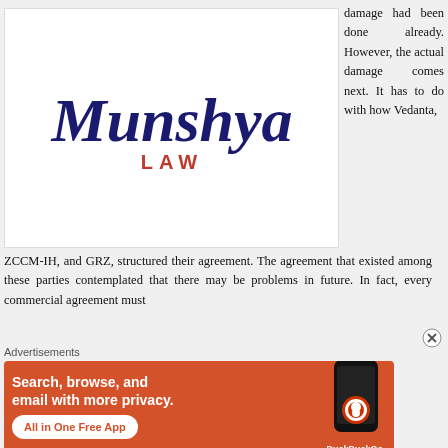[Figure (logo): Munshya Law logo — stylized cursive 'Munshya' in navy blue with 'LAW' in red below]
damage had been done already. However, the actual damage comes next. It has to do with how Vedanta, ZCCM-IH, and GRZ, structured their agreement. The agreement that existed among these parties contemplated that there may be problems in future. In fact, every commercial agreement must
[Figure (infographic): DuckDuckGo advertisement banner: 'Search, browse, and email with more privacy. All in One Free App' with phone graphic and DuckDuckGo logo]